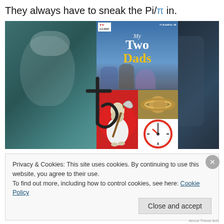They always have to sneak the Pi/π in.
[Figure (photo): Collage image with an older silver-haired man on the left (teal tint), a TV Guide-style magazine cover for 'My Two Dads' in the center with people on it, two figures on the right in dark tones (a teen and older man), plus overlaid icons including a grim reaper on red circle, Saturn planet, a clock, and a Saturn astrological symbol in the lower left area of the collage.]
Privacy & Cookies: This site uses cookies. By continuing to use this website, you agree to their use.
To find out more, including how to control cookies, see here: Cookie Policy
Close and accept